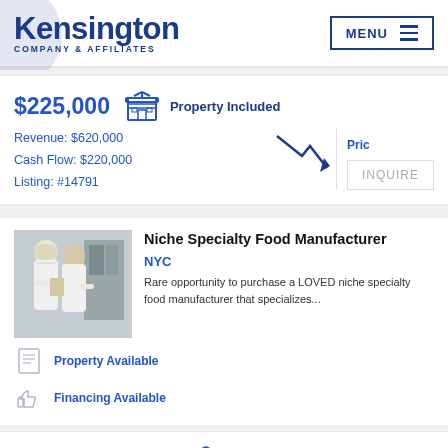Kensington Company & Affiliates | MENU
$225,000  Property Included
Revenue: $620,000
Cash Flow: $220,000
Listing: #14791
Pric
INQUIRE
[Figure (photo): Two food manufacturing workers in white lab coats and hairnets in a factory setting]
Niche Specialty Food Manufacturer
NYC
Rare opportunity to purchase a LOVED niche specialty food manufacturer that specializes...
Property Available
Financing Available
Inquire for Price  Property Included
Revenue: $200,000